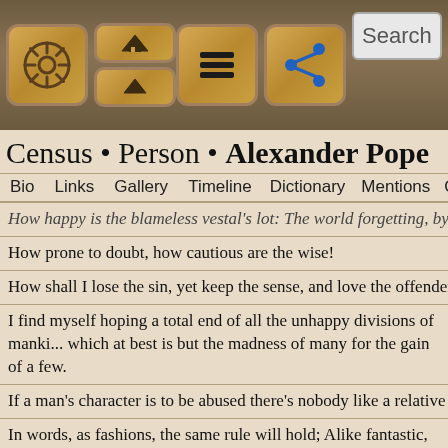[Figure (screenshot): Mobile app navigation bar with icons: ship wheel, home/up arrows, hamburger menu, share button, and a search box]
Census • Person • Alexander Pope
Bio  Links  Gallery  Timeline  Dictionary  Mentions  Quo
How happy is the blameless vestal's lot: The world forgetting, by the
How prone to doubt, how cautious are the wise!
How shall I lose the sin, yet keep the sense, and love the offender, yet
I find myself hoping a total end of all the unhappy divisions of manki... which at best is but the madness of many for the gain of a few.
If a man's character is to be abused there's nobody like a relative to do
In words, as fashions, the same rule will hold; Alike fantastic, if too n... first by whom the new are tried, Nor yet the last to lay the old aside.
Know then this truth, enough for man to know virtue alone is happine
Know then thyself, presume not God to scan; The proper study of ma
Lo! The poor Indian, whose untutored mind sees God in clouds, or he
Lo, what huge heaps of littleness around!
Lulled in the countless chambers of the brain, our thoughts are linked... chain; awake but one, and in, what myriads rise!
Man never thinks himself happy, but when he enjoys those things whi... desire.
Mo...